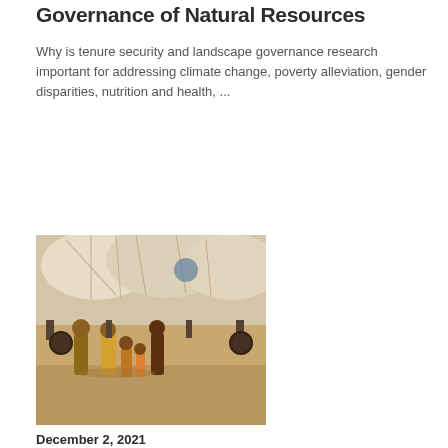Governance of Natural Resources
Why is tenure security and landscape governance research important for addressing climate change, poverty alleviation, gender disparities, nutrition and health, ...
Read More
[Figure (photo): Group of people standing in front of a large load of bundled goods on a cart or vehicle, in a dry dusty environment.]
December 2, 2021
Migration and Global Agri-Food Systems: Insights from CGIAR Research and Beyond